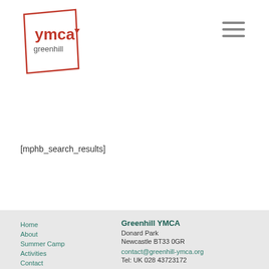[Figure (logo): YMCA Greenhill logo — red triangle outline containing 'ymca' in red and 'greenhill' in dark grey text]
[mphb_search_results]
Home
About
Summer Camp
Activities
Contact
Greenhill YMCA
Donard Park
Newcastle BT33 0GR

contact@greenhill-ymca.org
Tel: UK 028 43723172